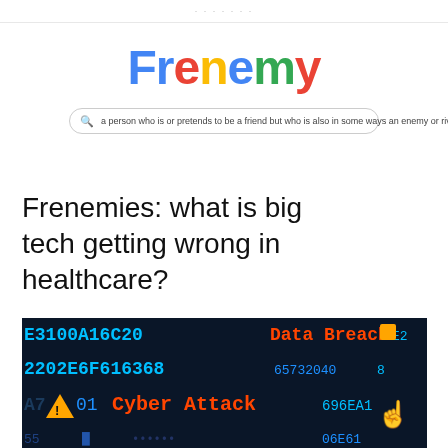· · · · · · ·
Frenemy
a person who is or pretends to be a friend but who is also in some ways an enemy or rival
Frenemies: what is big tech getting wrong in healthcare?
[Figure (photo): Dark cybersecurity themed image showing hex code, 'Data Breach' in red neon text, 'Cyber Attack' in red neon text, numeric codes in blue/cyan, with a cursor hand icon]